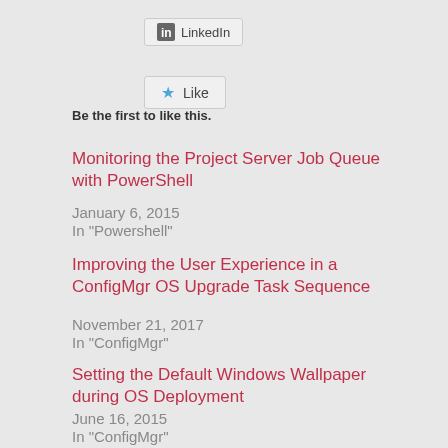[Figure (screenshot): LinkedIn share button with icon]
[Figure (screenshot): Like button with blue star icon]
Be the first to like this.
Monitoring the Project Server Job Queue with PowerShell
January 6, 2015
In "Powershell"
Improving the User Experience in a ConfigMgr OS Upgrade Task Sequence
November 21, 2017
In "ConfigMgr"
Setting the Default Windows Wallpaper during OS Deployment
June 16, 2015
In "ConfigMgr"